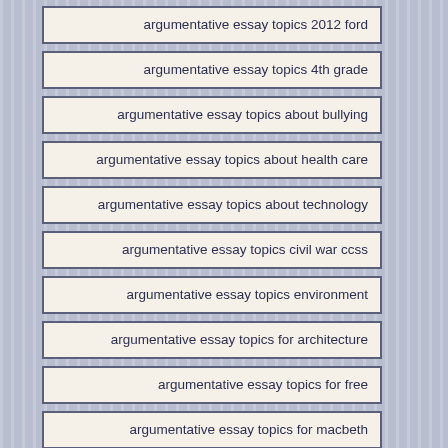argumentative essay topics 2012 ford
argumentative essay topics 4th grade
argumentative essay topics about bullying
argumentative essay topics about health care
argumentative essay topics about technology
argumentative essay topics civil war ccss
argumentative essay topics environment
argumentative essay topics for architecture
argumentative essay topics for free
argumentative essay topics for macbeth
argumentative essay topics for philosophy